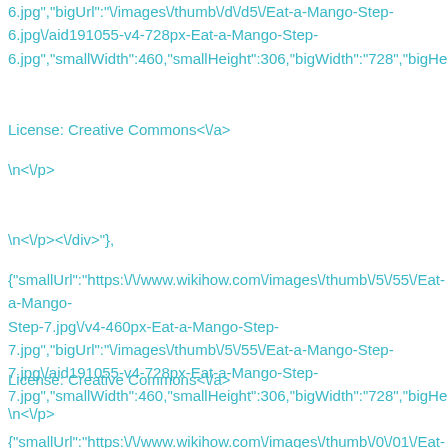6.jpg","bigUrl":"\/images\/thumb\/d\/d5\/Eat-a-Mango-Step-6.jpg\/aid191055-v4-728px-Eat-a-Mango-Step-6.jpg","smallWidth":460,"smallHeight":306,"bigWidth":"728","bigHeight":"485
License: Creative Commons<\/a>
\n<\/p>
\n<\/p><\/div>"},
{"smallUrl":"https:\/\/www.wikihow.com\/images\/thumb\/5\/55\/Eat-a-Mango-Step-7.jpg\/v4-460px-Eat-a-Mango-Step-7.jpg","bigUrl":"\/images\/thumb\/5\/55\/Eat-a-Mango-Step-7.jpg\/aid191055-v4-728px-Eat-a-Mango-Step-7.jpg","smallWidth":460,"smallHeight":306,"bigWidth":"728","bigHeight":"485
License: Creative Commons<\/a>
\n<\/p>
\n<\/p><\/div>"},
{"smallUrl":"https:\/\/www.wikihow.com\/images\/thumb\/0\/01\/Eat-a-Mango-